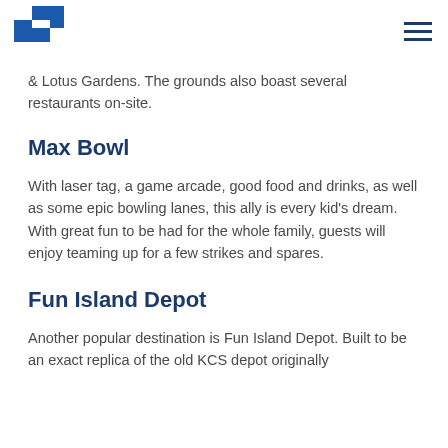Steward logo and navigation
& Lotus Gardens. The grounds also boast several restaurants on-site.
Max Bowl
With laser tag, a game arcade, good food and drinks, as well as some epic bowling lanes, this ally is every kid's dream. With great fun to be had for the whole family, guests will enjoy teaming up for a few strikes and spares.
Fun Island Depot
Another popular destination is Fun Island Depot. Built to be an exact replica of the old KCS depot originally